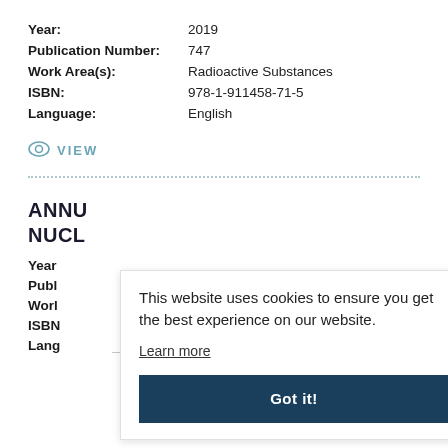Year: 2019
Publication Number: 747
Work Area(s): Radioactive Substances
ISBN: 978-1-911458-71-5
Language: English
VIEW
ANNU
NUCL
Year
Publ
Worl
ISBN
Lang
This website uses cookies to ensure you get the best experience on our website.
Learn more
Got it!